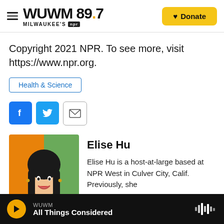WUWM 89.7 MILWAUKEE'S NPR — Donate
Copyright 2021 NPR. To see more, visit https://www.npr.org.
Health & Science
[Figure (illustration): Social sharing buttons: Facebook (blue), Twitter (blue), Email (white with envelope icon)]
[Figure (photo): Headshot photo of Elise Hu, a woman with dark hair, smiling, wearing earrings, with orange/green background]
Elise Hu
Elise Hu is a host-at-large based at NPR West in Culver City, Calif. Previously, she
WUWM — All Things Considered